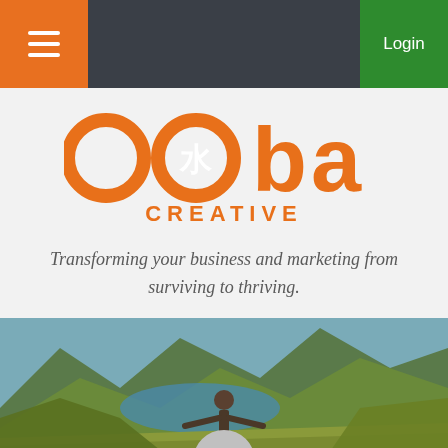Navigation bar with hamburger menu and Login button
[Figure (logo): ooba Creative logo in orange with Chinese water character inside the second 'o']
Transforming your business and marketing from surviving to thriving.
[Figure (photo): Person with arms outstretched overlooking a mountain lake landscape]
Successful Marketing